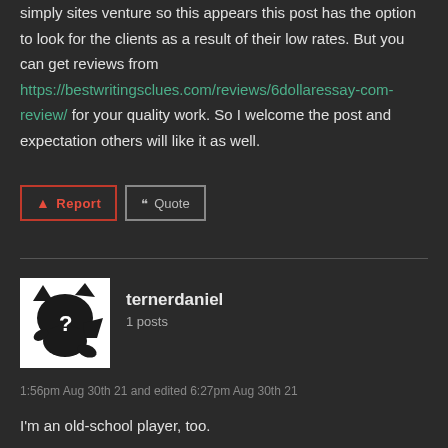simply sites venture so this appears this post has the option to look for the clients as a result of their low rates. But you can get reviews from https://bestwritingsclues.com/reviews/6dollaressay-com-review/ for your quality work. So I welcome the post and expectation others will like it as well.
[Figure (screenshot): Report and Quote buttons]
[Figure (illustration): User avatar with Pikachu-like silhouette]
ternerdaniel
1 posts
1:56pm Aug 30th 21 and edited 6:27pm Aug 30th 21
I'm an old-school player, too.